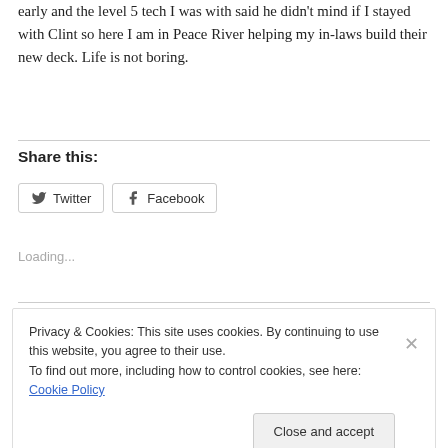early and the level 5 tech I was with said he didn't mind if I stayed with Clint so here I am in Peace River helping my in-laws build their new deck. Life is not boring.
Share this:
[Figure (other): Twitter and Facebook share buttons]
Loading...
Privacy & Cookies: This site uses cookies. By continuing to use this website, you agree to their use.
To find out more, including how to control cookies, see here: Cookie Policy